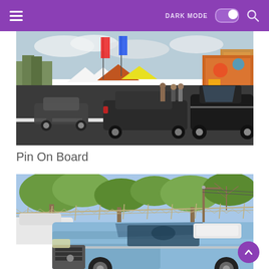DARK MODE [toggle] [search]
[Figure (photo): Outdoor classic car show with multiple vintage lowrider cars on a parking lot or street. Colorful tents, banners, palm trees, and a mural are visible in the background. Overcast sky.]
Pin On Board
[Figure (photo): Light blue classic convertible lowrider car parked near a chain-link fence with trees and utility poles in the background under a blue sky.]